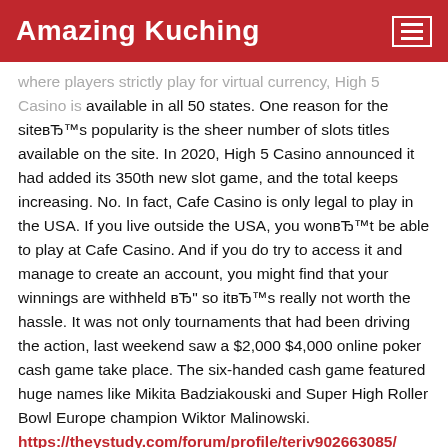Amazing Kuching
where players strictly play for virtual currency, High 5 Casino is available in all 50 states. One reason for the site’s popularity is the sheer number of slots titles available on the site. In 2020, High 5 Casino announced it had added its 350th new slot game, and the total keeps increasing. No. In fact, Cafe Casino is only legal to play in the USA. If you live outside the USA, you won’t be able to play at Cafe Casino. And if you do try to access it and manage to create an account, you might find that your winnings are withheld – so it’s really not worth the hassle. It was not only tournaments that had been driving the action, last weekend saw a $2,000 $4,000 online poker cash game take place. The six-handed cash game featured huge names like Mikita Badziakouski and Super High Roller Bowl Europe champion Wiktor Malinowski. https://theystudy.com/forum/profile/teriv902663085/ However, the absolute best one you can grab is the one offered by Red Dog Casino. This is a 225% deposit match bonus of up to $11,250, and you can claim it using the bonus code WAGGINGTAILS on the online casino website. Yes, Magic Red casino has lots of live dealer